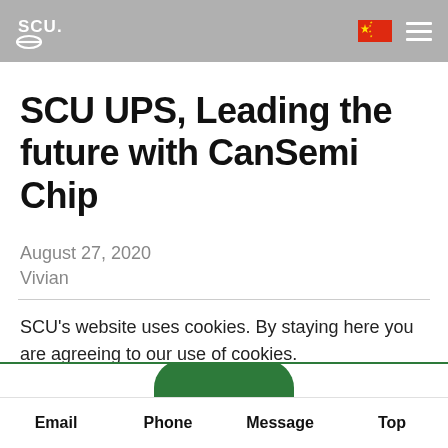SCU logo, Chinese flag, hamburger menu
SCU UPS, Leading the future with CanSemi Chip
August 27, 2020
Vivian
SCU's website uses cookies. By staying here you are agreeing to our use of cookies.
Learn more
Email  Phone  Message  Top